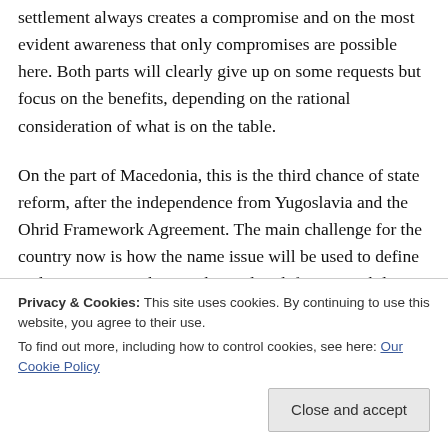settlement always creates a compromise and on the most evident awareness that only compromises are possible here. Both parts will clearly give up on some requests but focus on the benefits, depending on the rational consideration of what is on the table.
On the part of Macedonia, this is the third chance of state reform, after the independence from Yugoslavia and the Ohrid Framework Agreement. The main challenge for the country now is how the name issue will be used to define and assess citizenship's rights and to definition stabilize the relation...
Privacy & Cookies: This site uses cookies. By continuing to use this website, you agree to their use.
To find out more, including how to control cookies, see here: Our Cookie Policy
latter are in favour of the agreement not primarily